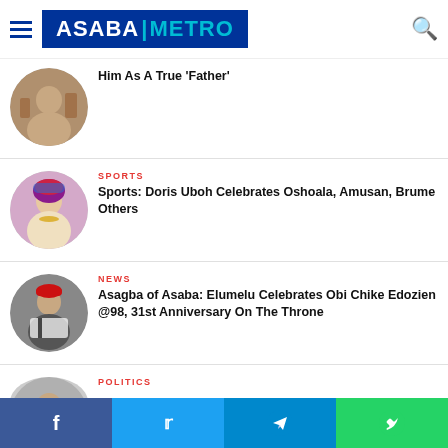ASABA METRO
Him As A True 'Father'
SPORTS
Sports: Doris Uboh Celebrates Oshoala, Amusan, Brume Others
NEWS
Asagba of Asaba: Elumelu Celebrates Obi Chike Edozien @98, 31st Anniversary On The Throne
POLITICS
Facebook | Twitter | Telegram | WhatsApp